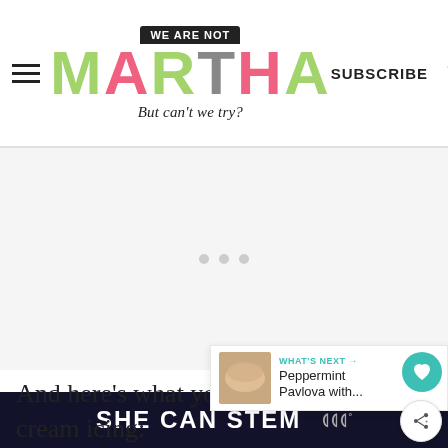WE ARE NOT MARTHA But can't we try? SUBSCRIBE
[Figure (screenshot): Advertisement placeholder area with three gray dots]
[Figure (screenshot): What's Next promotional box showing Peppermint Pavlova with... with a thumbnail image]
And here's what you need for the cream icing:
[Figure (screenshot): SHE CAN STEM advertisement banner at the bottom]